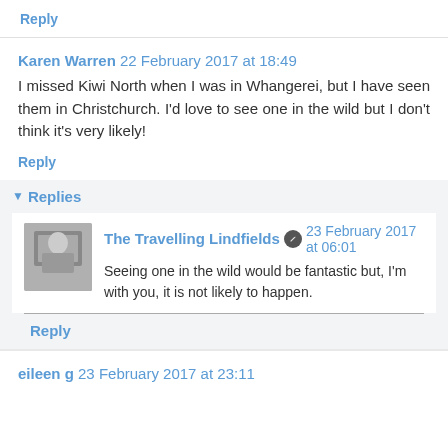Reply
Karen Warren  22 February 2017 at 18:49
I missed Kiwi North when I was in Whangerei, but I have seen them in Christchurch. I'd love to see one in the wild but I don't think it's very likely!
Reply
Replies
The Travelling Lindfields  23 February 2017 at 06:01
Seeing one in the wild would be fantastic but, I'm with you, it is not likely to happen.
Reply
eileen g  23 February 2017 at 23:11